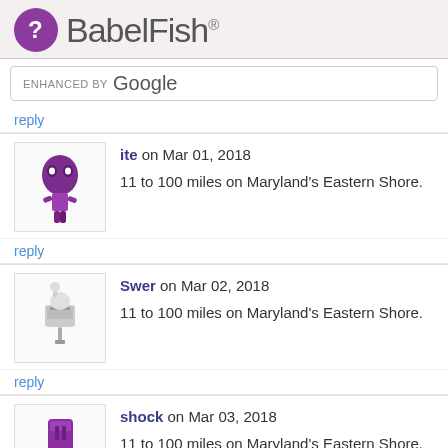BabelFish®
ENHANCED BY Google
reply
ite on Mar 01, 2018
11 to 100 miles on Maryland's Eastern Shore.
reply
Swer on Mar 02, 2018
11 to 100 miles on Maryland's Eastern Shore.
reply
shock on Mar 03, 2018
11 to 100 miles on Maryland's Eastern Shore.
reply